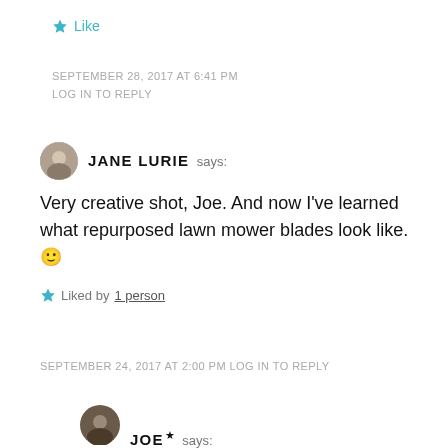★ Like
SEPTEMBER 28, 2017 AT 6:41 PM
LOG IN TO REPLY
JANE LURIE says:
Very creative shot, Joe. And now I've learned what repurposed lawn mower blades look like. 🙂
★ Liked by 1 person
SEPTEMBER 24, 2017 AT 2:00 PM LOG IN TO REPLY
JOE★ says: